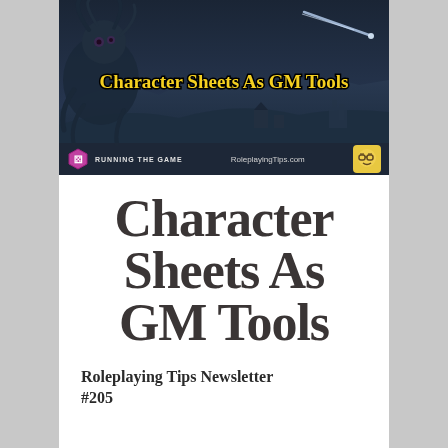[Figure (illustration): Banner image for a gaming newsletter titled 'Character Sheets As GM Tools'. Dark blue fantasy landscape with a monster on the left, a comet on the upper right, buildings in the background. Bottom bar shows a hexagonal icon, 'RUNNING THE GAME' text, 'RoleplayingTips.com' in the center, and an avatar face icon on the right.]
Character Sheets As GM Tools
Roleplaying Tips Newsletter #205